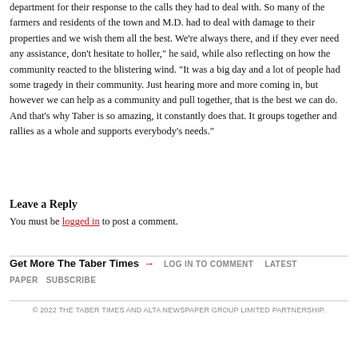department for their response to the calls they had to deal with. So many of the farmers and residents of the town and M.D. had to deal with damage to their properties and we wish them all the best. We're always there, and if they ever need any assistance, don't hesitate to holler," he said, while also reflecting on how the community reacted to the blistering wind. "It was a big day and a lot of people had some tragedy in their community. Just hearing more and more coming in, but however we can help as a community and pull together, that is the best we can do. And that's why Taber is so amazing, it constantly does that. It groups together and rallies as a whole and supports everybody's needs."
Leave a Reply
You must be logged in to post a comment.
Get More The Taber Times → LOG IN TO COMMENT   LATEST PAPER   SUBSCRIBE
© 2022 THE TABER TIMES AND ALTA NEWSPAPER GROUP LIMITED PARTNERSHIP.